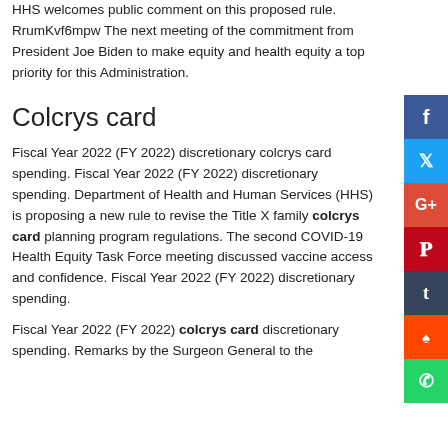HHS welcomes public comment on this proposed rule. RrumKvf6mpw The next meeting of the commitment from President Joe Biden to make equity and health equity a top priority for this Administration.
Colcrys card
Fiscal Year 2022 (FY 2022) discretionary colcrys card spending. Fiscal Year 2022 (FY 2022) discretionary spending. Department of Health and Human Services (HHS) is proposing a new rule to revise the Title X family colcrys card planning program regulations. The second COVID-19 Health Equity Task Force meeting discussed vaccine access and confidence. Fiscal Year 2022 (FY 2022) discretionary spending.
Fiscal Year 2022 (FY 2022) colcrys card discretionary spending. Remarks by the Surgeon General to the